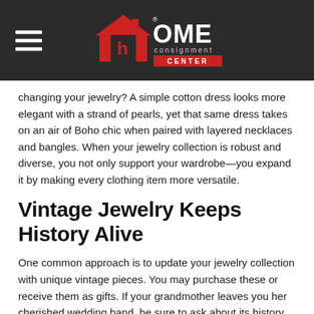Home Consignment Center
changing your jewelry? A simple cotton dress looks more elegant with a strand of pearls, yet that same dress takes on an air of Boho chic when paired with layered necklaces and bangles. When your jewelry collection is robust and diverse, you not only support your wardrobe—you expand it by making every clothing item more versatile.
Vintage Jewelry Keeps History Alive
One common approach is to update your jewelry collection with unique vintage pieces. You may purchase these or receive them as gifts. If your grandmother leaves you her cherished wedding band, be sure to ask about its history so you can treasure the story for years to come.